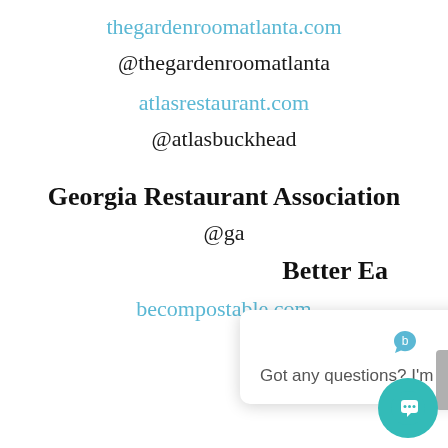thegardenroomatlanta.com
@thegardenroomatlanta
atlasrestaurant.com
@atlasbuckhead
Georgia Restaurant Association
@ga...
[Figure (screenshot): Chat popup overlay with close button and text: Got any questions? I'm happy to help.]
Better Ea...
becompostable.com